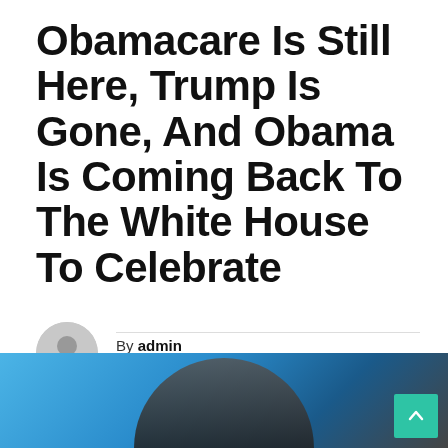Obamacare Is Still Here, Trump Is Gone, And Obama Is Coming Back To The White House To Celebrate
By admin
APR 4, 2022
[Figure (photo): Photo of a person at a podium or event, with blue background lighting. A teal/green scroll-to-top button visible in the bottom right corner.]